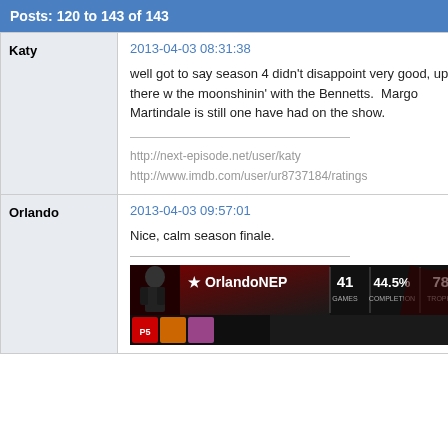Posts: 120 to 143 of 143
Katy
2013-04-03 08:31:38
well got to say season 4 didn't disappoint very good, up there with the moonshinin' with the Bennetts.  Margo Martindale is still one have had on the show.
http://next-episode.net/user/katy
http://www.imdb.com/user/ur8737184/ratings
Orlando
2013-04-03 09:57:01
Nice, calm season finale.
[Figure (infographic): OrlandoNEP user banner showing username, 41 GAMES, 44.5% COMPLETION, 784 TROPHIES, with game icons and anime character artwork]